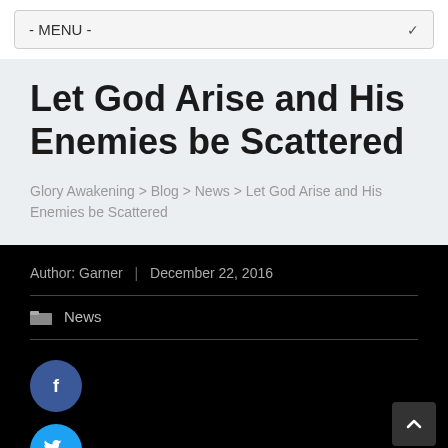- MENU -
Let God Arise and His Enemies be Scattered
Glory Awakening > Blog > News > Let God Arise and His Enemies be Scattered
Author: Garner | December 22, 2016
News
[Figure (logo): Facebook social share button - blue circle with white 'f' icon]
[Figure (logo): Twitter social share button - cyan circle with white bird icon]